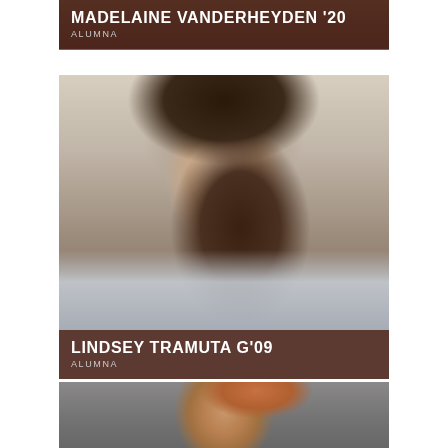[Figure (photo): Partial photo of Madelaine Vanderheyden at top of page, only lower portion visible]
MADELAINE VANDERHEYDEN '20
ALUMNA
[Figure (photo): Portrait photo of Lindsey Tramuta, a young woman with long dark hair, smiling, wearing a light blue/grey jacket, photographed outdoors]
LINDSEY TRAMUTA G'09
ALUMNA
[Figure (photo): Partial photo of a young man with red hair looking upward, only upper portion visible at bottom of page]